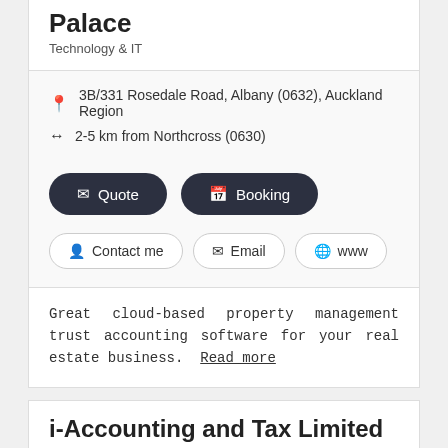Palace
Technology & IT
3B/331 Rosedale Road, Albany (0632), Auckland Region
2-5 km from Northcross (0630)
Quote
Booking
Contact me
Email
www
Great cloud-based property management trust accounting software for your real estate business.  Read more
i-Accounting and Tax Limited
Accounting